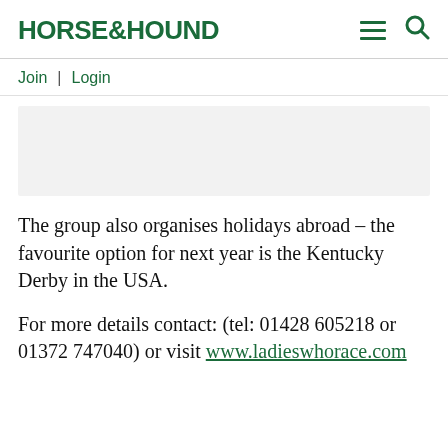HORSE&HOUND
Join | Login
[Figure (other): Advertisement placeholder area, light grey background]
The group also organises holidays abroad – the favourite option for next year is the Kentucky Derby in the USA.
For more details contact: (tel: 01428 605218 or 01372 747040) or visit www.ladieswhorace.com